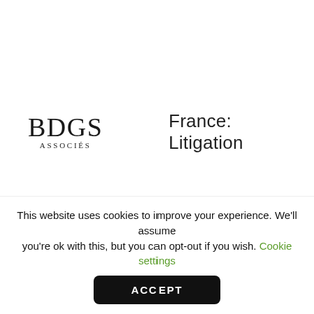[Figure (logo): BDGS Associés law firm logo — stylized serif letters BDGS with ASSOCIÉS beneath]
France: Litigation
[Figure (logo): Pfitzner Legal logo — uppercase sans-serif text PFITZNER LEGAL with an orange dot]
Germany: Litigation
Gibraltar: Litigation
This website uses cookies to improve your experience. We'll assume you're ok with this, but you can opt-out if you wish. Cookie settings
ACCEPT